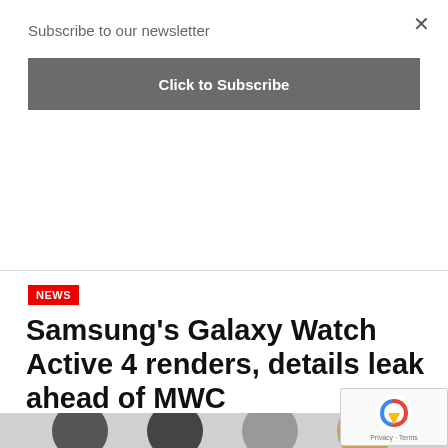Subscribe to our newsletter
Click to Subscribe
×
NEWS
Samsung's Galaxy Watch Active 4 renders, details leak ahead of MWC
By Brett Venter — June 24, 2021 — Updated: October 1, 2021  No Comments  2 Mins Read
[Figure (photo): Row of Samsung Galaxy Watch Active 4 devices at the bottom of the page]